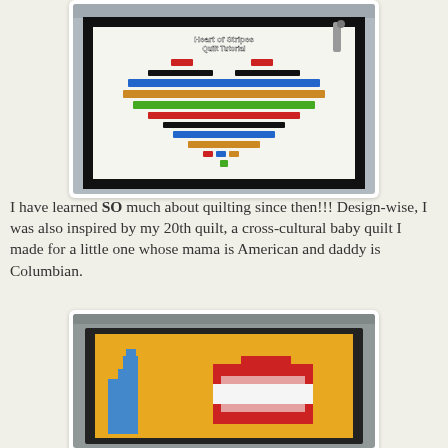[Figure (photo): Heart of Stripes Quilt Tutorial - a quilt hung in a bathroom showing a heart shape formed by colorful fabric strips of decreasing width on a white background with black border]
I have learned SO much about quilting since then!!! Design-wise, I was also inspired by my 20th quilt, a cross-cultural baby quilt I made for a little one whose mama is American and daddy is Columbian.
[Figure (photo): A cross-cultural baby quilt hung in a bathroom, showing a pixelated design with blue and red/white striped block shapes on a yellow/gold background with dark border]